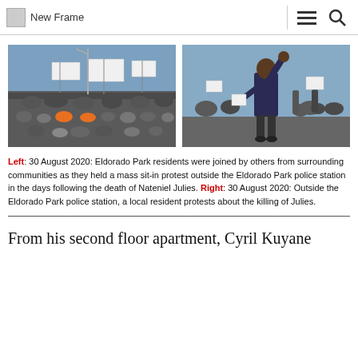New Frame
[Figure (photo): Left photo: Large crowd of Eldorado Park residents and others from surrounding communities seated and standing in a mass sit-in protest outside the Eldorado Park police station, holding banners and signs, following the death of Nateniel Julies, 30 August 2020.]
[Figure (photo): Right photo: A local resident with fist raised in protest outside the Eldorado Park police station about the killing of Julies, 30 August 2020.]
Left: 30 August 2020: Eldorado Park residents were joined by others from surrounding communities as they held a mass sit-in protest outside the Eldorado Park police station in the days following the death of Nateniel Julies. Right: 30 August 2020: Outside the Eldorado Park police station, a local resident protests about the killing of Julies.
From his second floor apartment, Cyril Kuyane